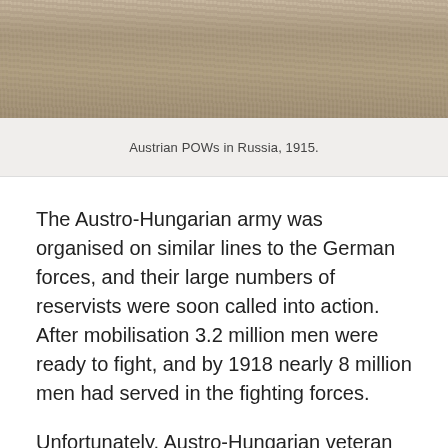[Figure (photo): Historical sepia-toned photograph showing Austrian POWs in Russia, 1915. The image shows a muddy or earthen ground scene.]
Austrian POWs in Russia, 1915.
The Austro-Hungarian army was organised on similar lines to the German forces, and their large numbers of reservists were soon called into action. After mobilisation 3.2 million men were ready to fight, and by 1918 nearly 8 million men had served in the fighting forces.
Unfortunately, Austro-Hungarian veteran forces, technology and expenditure were insufficient. Their artillery was particularly inadequate: at times in 1914 their guns were limited to firing only four shells per